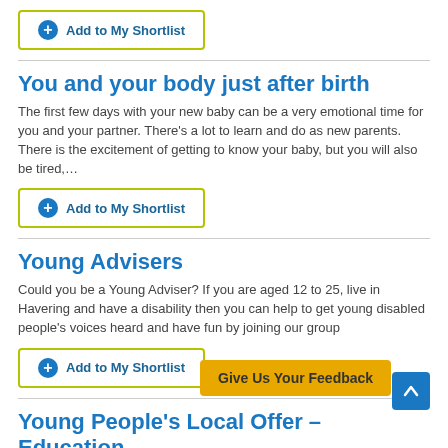Add to My Shortlist
You and your body just after birth
The first few days with your new baby can be a very emotional time for you and your partner. There's a lot to learn and do as new parents. There is the excitement of getting to know your baby, but you will also be tired,…
Add to My Shortlist
Young Advisers
Could you be a Young Adviser? If you are aged 12 to 25, live in Havering and have a disability then you can help to get young disabled people's voices heard and have fun by joining our group
Add to My Shortlist
Young People's Local Offer – Education
Young people are required by law to stay in some form of